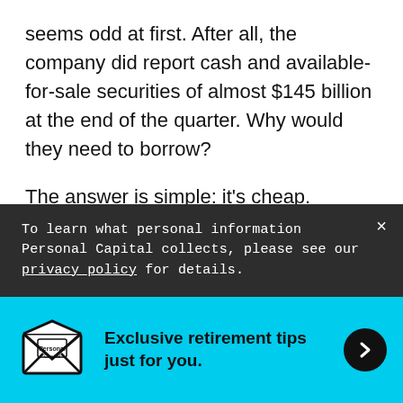seems odd at first. After all, the company did report cash and available-for-sale securities of almost $145 billion at the end of the quarter. Why would they need to borrow?
The answer is simple: it's cheap. Central banks have driven interest rates to historical lows. This allows companies such as Apple to borrow funds and immediately boost shareholder value through dividends and share buybacks. Specifically, Apple is increasing its dividend by 15% and adding another
To learn what personal information Personal Capital collects, please see our privacy policy for details.
Exclusive retirement tips just for you.